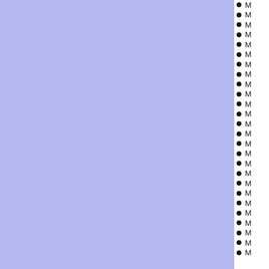[Figure (other): Large light blue/lavender rectangle filling the left portion of the page]
M
M
M
M
M
M
M
M
M
M
M
M
M
M
M
M
M
M
M
M
M
M
M
M
M
M